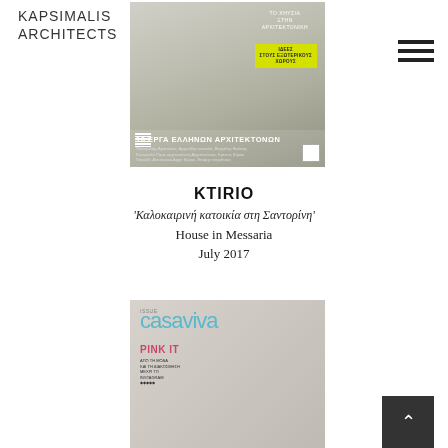KAPSIMALIS
ARCHITECTS
[Figure (photo): Cover of KTIRIO magazine showing a modern kitchen with wooden cabinetry and text '10 ΕΡΓΑ ΕΛΛΗΝΩΝ ΑΡΧΙΤΕΚΤΟΝΩΝ' in Greek]
KTIRIO
'Καλοκαιρινή κατοικία στη Σαντορίνη'
House in Messaria
July 2017
[Figure (photo): Cover of Casaviva magazine with pink and teal design, featuring 'PINK IT' headline and mosaic tile wall image]